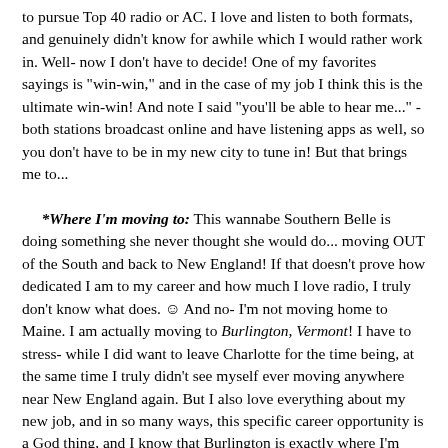to pursue Top 40 radio or AC. I love and listen to both formats, and genuinely didn't know for awhile which I would rather work in. Well- now I don't have to decide! One of my favorites sayings is "win-win," and in the case of my job I think this is the ultimate win-win! And note I said "you'll be able to hear me..." - both stations broadcast online and have listening apps as well, so you don't have to be in my new city to tune in! But that brings me to...
*Where I'm moving to: This wannabe Southern Belle is doing something she never thought she would do... moving OUT of the South and back to New England! If that doesn't prove how dedicated I am to my career and how much I love radio, I truly don't know what does. ☺ And no- I'm not moving home to Maine. I am actually moving to Burlington, Vermont! I have to stress- while I did want to leave Charlotte for the time being, at the same time I truly didn't see myself ever moving anywhere near New England again. But I also love everything about my new job, and in so many ways, this specific career opportunity is a God thing, and I know that Burlington is exactly where I'm supposed to be next. While I might not be excited for rough winters again, I am so excited for the adventures to come and discovering a new state and